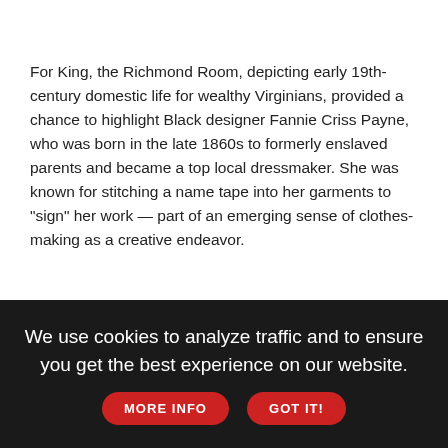For King, the Richmond Room, depicting early 19th-century domestic life for wealthy Virginians, provided a chance to highlight Black designer Fannie Criss Payne, who was born in the late 1860s to formerly enslaved parents and became a top local dressmaker. She was known for stitching a name tape into her garments to "sign" her work — part of an emerging sense of clothes-making as a creative endeavor.
King says she was looking "to portray the power and strength Fannie Criss Payne exudes through her awe-inspiring story and exquisite clothing," placing her in a prosperous working situation —
We use cookies to analyze traffic and to ensure you get the best experience on our website.